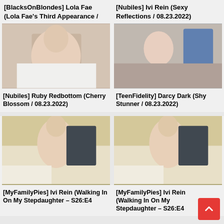[BlacksOnBlondes] Lola Fae (Lola Fae's Third Appearance /
[Nubiles] Ivi Rein (Sexy Reflections / 08.23.2022)
[Figure (photo): Thumbnail image for BlacksOnBlondes Lola Fae video]
[Figure (photo): Thumbnail image for Nubiles Ivi Rein Sexy Reflections video]
[Nubiles] Ruby Redbottom (Cherry Blossom / 08.23.2022)
[TeenFidelity] Darcy Dark (Shy Stunner / 08.23.2022)
[Figure (photo): Thumbnail image for MyFamilyPies Ivi Rein Walking In On My Stepdaughter S26:E4 (left)]
[Figure (photo): Thumbnail image for MyFamilyPies Ivi Rein Walking In On My Stepdaughter S26:E4 (right)]
[MyFamilyPies] Ivi Rein (Walking In On My Stepdaughter – S26:E4
[MyFamilyPies] Ivi Rein (Walking In On My Stepdaughter – S26:E4